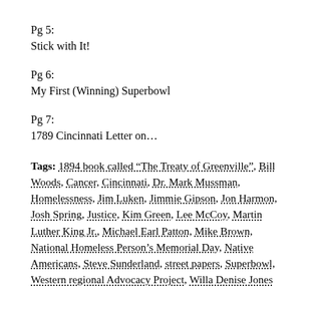Pg 5:
Stick with It!
Pg 6:
My First (Winning) Superbowl
Pg 7:
1789 Cincinnati Letter on…
Tags: 1894 book called “The Treaty of Greenville”, Bill Woods, Cancer, Cincinnati, Dr. Mark Mussman, Homelessness, Jim Luken, Jimmie Gipson, Jon Harmon, Josh Spring, Justice, Kim Green, Lee McCoy, Martin Luther King Jr., Michael Earl Patton, Mike Brown, National Homeless Person’s Memorial Day, Native Americans, Steve Sunderland, street papers, Superbowl, Western regional Advocacy Project, Willa Denise Jones